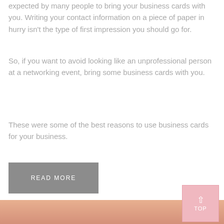expected by many people to bring your business cards with you. Writing your contact information on a piece of paper in hurry isn't the type of first impression you should go for.
So, if you want to avoid looking like an unprofessional person at a networking event, bring some business cards with you.
These were some of the best reasons to use business cards for your business.
READ MORE
[Figure (photo): Partial view of a person, skin-toned background at the bottom of the page]
TOP